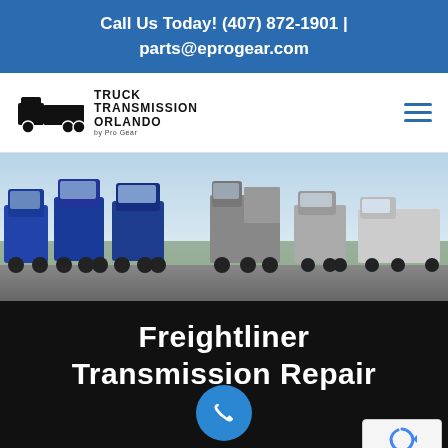Call Us Today! (407) 872-1901 | parts@eprogear.com
[Figure (logo): Truck Transmission Orlando by Pro Gear logo with truck silhouette]
[Figure (photo): Row of various commercial trucks (blue semi-trucks, dump truck, white box truck) parked on a tarmac with cloudy sky background]
Freightliner Transmission Repair
[Figure (other): Blue circular phone call button icon]
[Figure (other): reCAPTCHA badge with Privacy and Terms text]